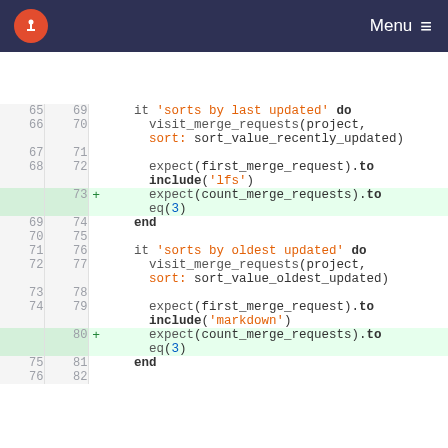Menu
[Figure (screenshot): Code diff view showing Ruby RSpec test file with line numbers. Lines 65-82 shown. Added lines (73, 80) highlighted in green showing expect(count_merge_requests).to eq(3) assertions. Code includes it blocks for 'sorts by last updated' and 'sorts by oldest updated' with visit_merge_requests calls and expect statements.]